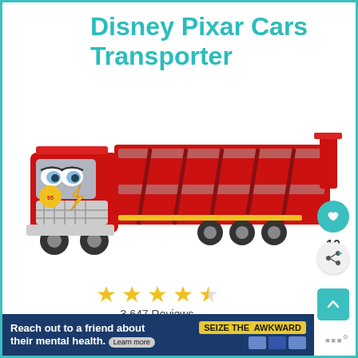Disney Pixar Cars Transporter
[Figure (photo): Red Disney Pixar Cars Mack Transporter toy truck, a large red semi-truck with car carrier trailer and Lightning McQueen face on the cab]
3,647 Reviews
Prime
10
[Figure (infographic): Reach out to a friend about their mental health. SEIZE THE AWKWARD. Learn more. Ad banner in dark blue with yellow badge.]